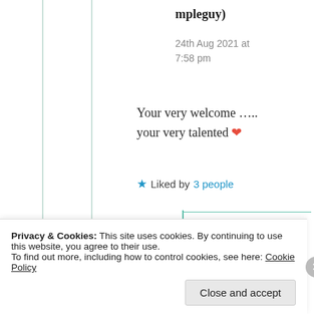mpleguy)
24th Aug 2021 at 7:58 pm
Your very welcome …..
your very talented ❤
★ Liked by 3 people
Suma Reddy
Privacy & Cookies: This site uses cookies. By continuing to use this website, you agree to their use.
To find out more, including how to control cookies, see here: Cookie Policy
Close and accept